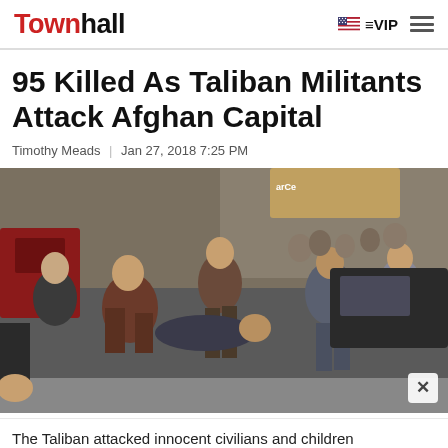Townhall | VIP
95 Killed As Taliban Militants Attack Afghan Capital
Timothy Meads | Jan 27, 2018 7:25 PM
[Figure (photo): Several men carrying an injured person, apparently a victim of the Taliban attack in Kabul, Afghanistan. The scene shows multiple men helping transport a victim near vehicles on a busy street.]
The Taliban attacked innocent civilians and children